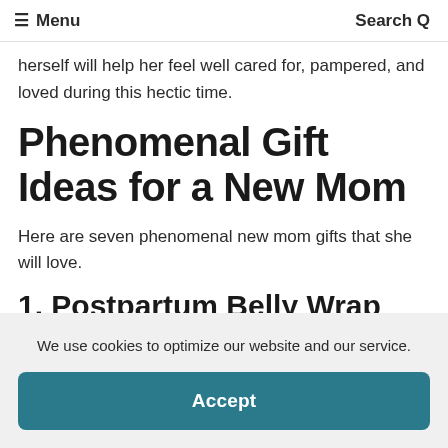≡ Menu   Search Q
herself will help her feel well cared for, pampered, and loved during this hectic time.
Phenomenal Gift Ideas for a New Mom
Here are seven phenomenal new mom gifts that she will love.
1. Postpartum Belly Wrap
We use cookies to optimize our website and our service.
Accept